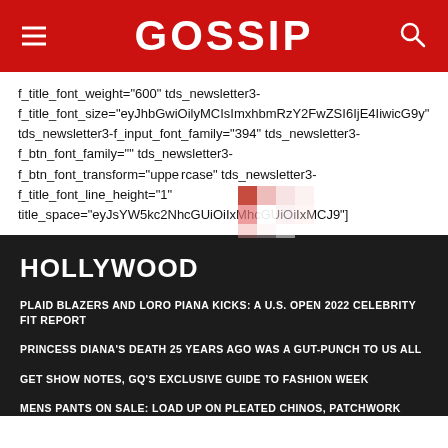GOSSIP
f_title_font_weight="600" tds_newsletter3-f_title_font_size="eyJhbGwiOilyMCIsImxhbmRzY2FwZSI6IjE4IiwicG9ydHJhaXQiOiIxNiJ9" tds_newsletter3-f_input_font_family="394" tds_newsletter3-f_btn_font_family="" tds_newsletter3-f_btn_font_transform="uppercase" tds_newsletter3-f_title_font_line_height="1" title_space="eyJsYW5kc2NhcGUiOiIxMiIsInBvcnRyYWl0IjoiMTAiLCJhbGwiOiIxNSJ9"]
HOLLYWOOD
PLAID BLAZERS AND LORO PIANA KICKS: A U.S. OPEN 2022 CELEBRITY FIT REPORT
PRINCESS DIANA'S DEATH 25 YEARS AGO WAS A GUT-PUNCH TO US ALL
GET SHOW NOTES, GQ'S EXCLUSIVE GUIDE TO FASHION WEEK
MENS PANTS ON SALE: LOAD UP ON PLEATED CHINOS, PATCHWORK